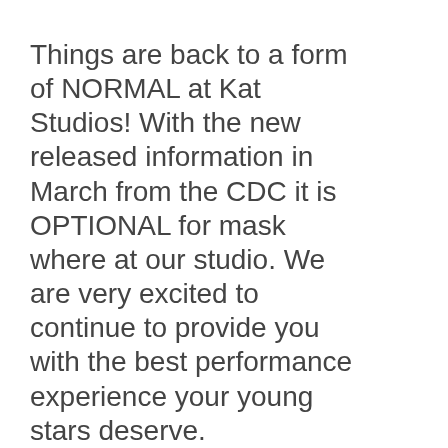Things are back to a form of NORMAL at Kat Studios! With the new released information in March from the CDC it is OPTIONAL for mask where at our studio. We are very excited to continue to provide you with the best performance experience your young stars deserve.
We will be fully operating, accepting walk-in inquiries and studio tours as per normal